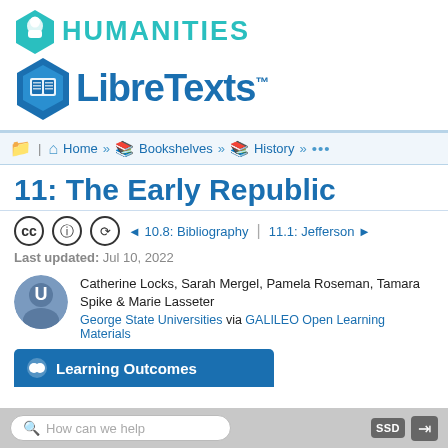[Figure (logo): LibreTexts Humanities logo — green hexagon with philosopher icon and teal HUMANITIES text, blue hexagon with book/tablet icon and LibreTexts™ text]
Home » Bookshelves » History »  ...
11: The Early Republic
◄ 10.8: Bibliography | 11.1: Jefferson ►
Last updated: Jul 10, 2022
Catherine Locks, Sarah Mergel, Pamela Roseman, Tamara Spike & Marie Lasseter
George State Universities via GALILEO Open Learning Materials
Learning Outcomes